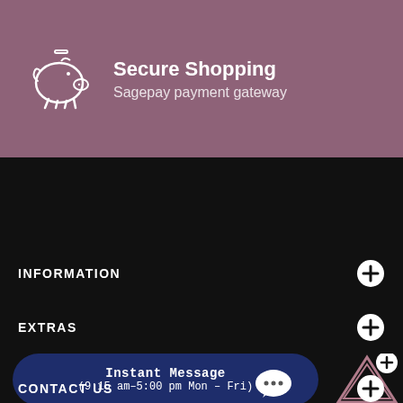[Figure (illustration): Piggy bank icon in white outline on mauve/purple background]
Secure Shopping
Sagepay payment gateway
INFORMATION
EXTRAS
Instant Message
(9:15 am–5:00 pm Mon – Fri)
CONTACT US